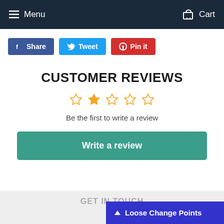Menu  Cart
Share  Tweet  Pin it
CUSTOMER REVIEWS
☆☆☆☆☆
Be the first to write a review
Write a review
GET IN TOUCH
Loose Change Points